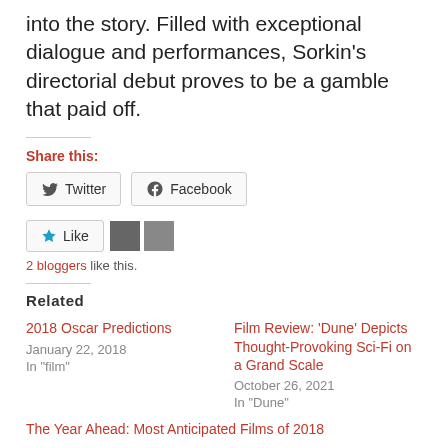into the story. Filled with exceptional dialogue and performances, Sorkin's directorial debut proves to be a gamble that paid off.
Share this:
Twitter  Facebook
Like  2 bloggers like this.
Related
2018 Oscar Predictions
January 22, 2018
In "film"
Film Review: 'Dune' Depicts Thought-Provoking Sci-Fi on a Grand Scale
October 26, 2021
In "Dune"
The Year Ahead: Most Anticipated Films of 2018